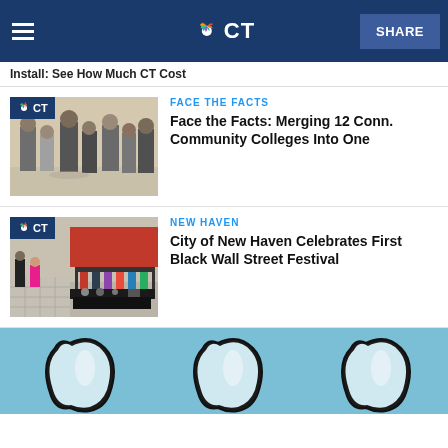NBC CT - Install: See How Much CT Cost
FACE THE FACTS
Face the Facts: Merging 12 Conn. Community Colleges Into One
NEW HAVEN
City of New Haven Celebrates First Black Wall Street Festival
[Figure (illustration): Three tooth shapes on a light blue background, partially visible at bottom of page]